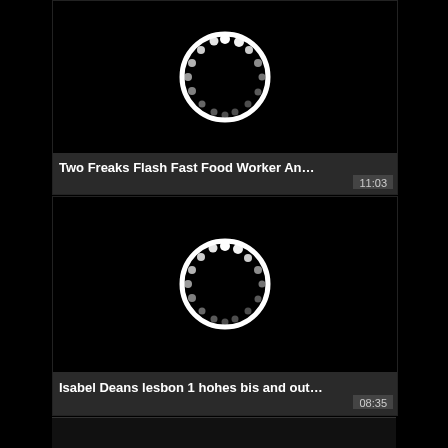[Figure (screenshot): Video thumbnail with loading spinner (white circle with dots on black background) for 'Two Freaks Flash Fast Food Worker An...' duration 11:03]
Two Freaks Flash Fast Food Worker An… 11:03
[Figure (screenshot): Video thumbnail with loading spinner (white circle with dots on black background) for 'Isabel Deans lesbon 1 hohes bis and out...' duration 08:35]
Isabel Deans lesbon 1 hohes bis and out… 08:35
[Figure (screenshot): Partial video thumbnail (third card, black background, partially visible)]